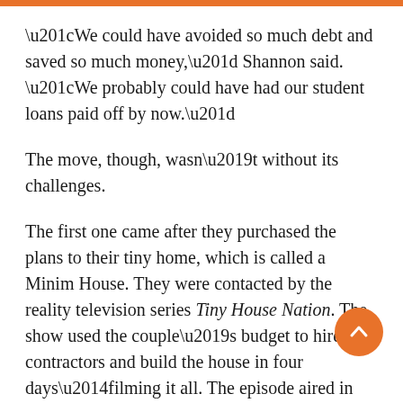“We could have avoided so much debt and saved so much money,” Shannon said. “We probably could have had our student loans paid off by now.”
The move, though, wasn’t without its challenges.
The first one came after they purchased the plans to their tiny home, which is called a Minim House. They were contacted by the reality television series Tiny House Nation. The show used the couple’s budget to hire contractors and build the house in four days—filming it all. The episode aired in July 2014.
The couple had to quickly downsize. They donated more than 80 cardboard boxes of clothing as well as the equivalent of...